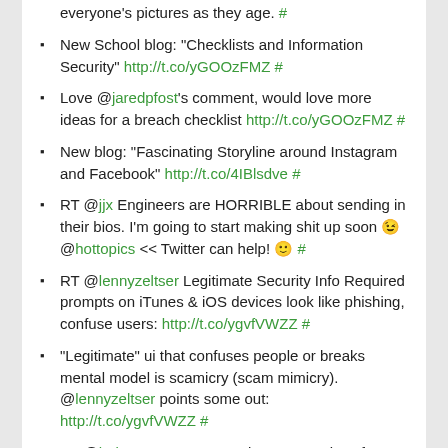everyone's pictures as they age. #
New School blog: "Checklists and Information Security" http://t.co/yGOOzFMZ #
Love @jaredpfost's comment, would love more ideas for a breach checklist http://t.co/yGOOzFMZ #
New blog: "Fascinating Storyline around Instagram and Facebook" http://t.co/4IBlsdve #
RT @jjx Engineers are HORRIBLE about sending in their bios. I'm going to start making shit up soon 😉 @hottopics << Twitter can help! 🙂 #
RT @lennyzeltser Legitimate Security Info Required prompts on iTunes & iOS devices look like phishing, confuse users: http://t.co/ygvfVWZZ #
"Legitimate" ui that confuses people or breaks mental model is scamicry (scam mimicry). @lennyzeltser points some out: http://t.co/ygvfVWZZ #
RT @hal_pomeranz Interesting perspectives from former TSA head: http://t.co/nF6DbgSM #
Powered by Twitter Tools